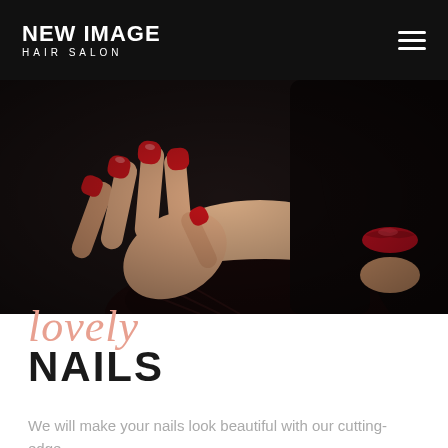NEW IMAGE HAIR SALON
[Figure (photo): Close-up fashion photo of a woman with black hair and red nail polish holding her hand near her face against a dark background, wearing black lace clothing]
lovely NAILS
We will make your nails look beautiful with our cutting-edge